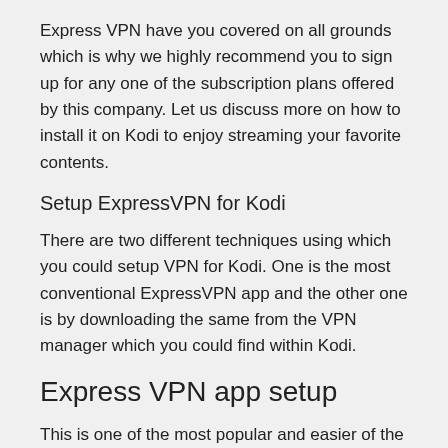Express VPN have you covered on all grounds which is why we highly recommend you to sign up for any one of the subscription plans offered by this company. Let us discuss more on how to install it on Kodi to enjoy streaming your favorite contents.
Setup ExpressVPN for Kodi
There are two different techniques using which you could setup VPN for Kodi. One is the most conventional ExpressVPN app and the other one is by downloading the same from the VPN manager which you could find within Kodi.
Express VPN app setup
This is one of the most popular and easier of the two. Follow the steps given below to setup ExpressVPN for Kodi –